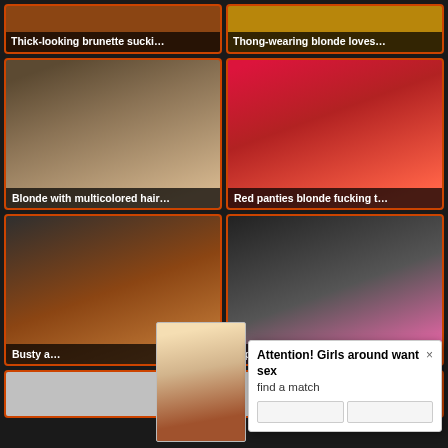[Figure (screenshot): Grid of adult video thumbnails with captions, plus a popup notification overlay saying 'Attention! Girls around want sex / find a match']
Thick-looking brunette sucki...
Thong-wearing blonde loves...
Blonde with multicolored hair...
Red panties blonde fucking t...
Busty a...
...ponytailed brunette emily se...
Attention! Girls around want sex
find a match